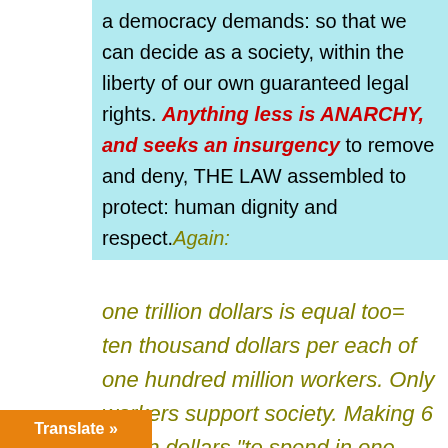a democracy demands: so that we can decide as a society, within the liberty of our own guaranteed legal rights. Anything less is ANARCHY, and seeks an insurgency to remove and deny, THE LAW assembled to protect: human dignity and respect.Again: one trillion dollars is equal too= ten thousand dollars per each of one hundred million workers. Only workers support society. Making 6 trillion dollars “to spend in one year”= equal too, $60,000.00 per each of one hundred million workers/ on top of what has already been spent. “not …y though”/ universities have it all
Translate »